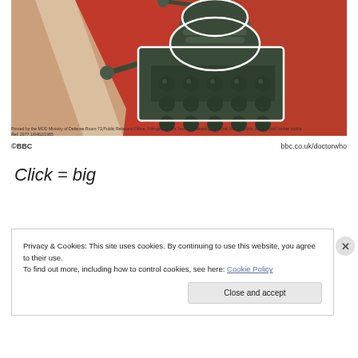[Figure (illustration): Dalek illustration poster in Soviet propaganda style on red background with white lightning bolt shapes. Green/dark colored Dalek figure in center.]
Printed by the MOD Ministry of Defense Room 73,Public Relations Office, Fillingley Works Test Print awaiting approval,Not for public display until further notice Ref: 2077 1/0462/1985
©BBC    bbc.co.uk/doctorwho
Click = big
Privacy & Cookies: This site uses cookies. By continuing to use this website, you agree to their use.
To find out more, including how to control cookies, see here: Cookie Policy
Close and accept